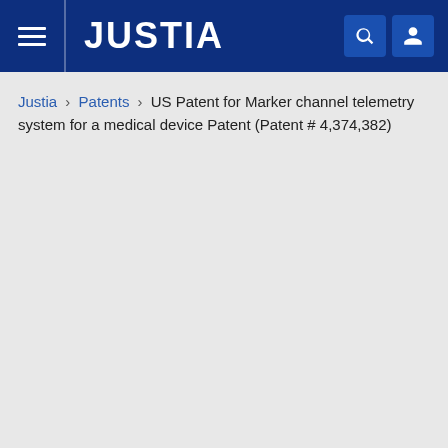JUSTIA
Justia › Patents › US Patent for Marker channel telemetry system for a medical device Patent (Patent # 4,374,382)